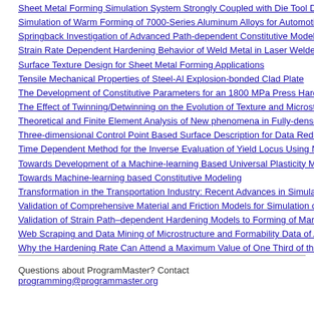Sheet Metal Forming Simulation System Strongly Coupled with Die Tool Deformation
Simulation of Warm Forming of 7000-Series Aluminum Alloys for Automotive Structural Parts
Springback Investigation of Advanced Path-dependent Constitutive Models for Sheet Metal Forming
Strain Rate Dependent Hardening Behavior of Weld Metal in Laser Welded Blanks
Surface Texture Design for Sheet Metal Forming Applications
Tensile Mechanical Properties of Steel-Al Explosion-bonded Clad Plate
The Development of Constitutive Parameters for an 1800 MPa Press Hardening Steel
The Effect of Twinning/Detwinning on the Evolution of Texture and Microstructure
Theoretical and Finite Element Analysis of New phenomena in Fully-dense Materials
Three-dimensional Control Point Based Surface Description for Data Reduction,
Time Dependent Method for the Inverse Evaluation of Yield Locus Using Nakazima
Towards Development of a Machine-learning Based Universal Plasticity Model
Towards Machine-learning based Constitutive Modeling
Transformation in the Transportation Industry: Recent Advances in Simulation Technology
Validation of Comprehensive Material and Friction Models for Simulation of The
Validation of Strain Path-dependent Hardening Models to Forming of Martensitic
Web Scraping and Data Mining of Microstructure and Formability Data of Aluminum
Why the Hardening Rate Can Attend a Maximum Value of One Third of the Elastic
Questions about ProgramMaster? Contact programming@programmaster.org